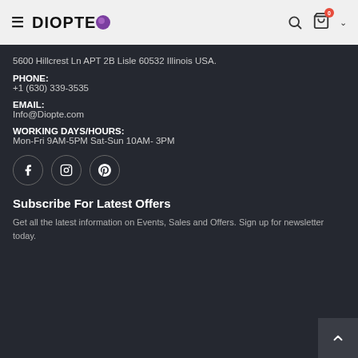DIOPTEO — navigation header with logo, search, cart (0), and chevron
5600 Hillcrest Ln APT 2B Lisle 60532 Illinois USA.
PHONE:
+1 (630) 339-3535
EMAIL:
Info@Diopte.com
WORKING DAYS/HOURS:
Mon-Fri 9AM-5PM Sat-Sun 10AM- 3PM
[Figure (other): Social media icon buttons: Facebook, Instagram, Pinterest — each in a circular border]
Subscribe For Latest Offers
Get all the latest information on Events, Sales and Offers. Sign up for newsletter today.